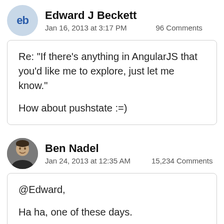Edward J Beckett — Jan 16, 2013 at 3:17 PM — 96 Comments
Re: "If there's anything in AngularJS that you'd like me to explore, just let me know."

How about pushstate :=)
Ben Nadel — Jan 24, 2013 at 12:35 AM — 15,234 Comments
@Edward,

Ha ha, one of these days.